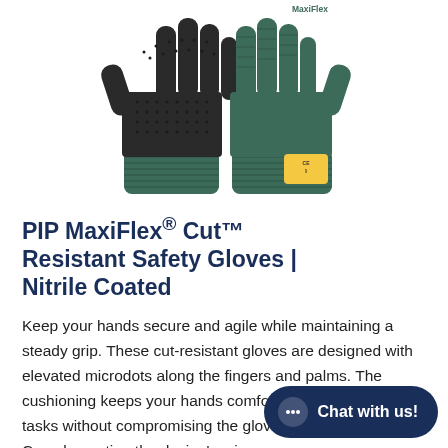[Figure (photo): Two PIP MaxiFlex Cut-resistant safety gloves shown front and back, green knit with black nitrile-coated palms and fingers with microdots, MaxiFlex branding visible on one glove cuff.]
PIP MaxiFlex® Cut™ Resistant Safety Gloves | Nitrile Coated
Keep your hands secure and agile while maintaining a steady grip. These cut-resistant gloves are designed with elevated microdots along the fingers and palms. The cushioning keeps your hands comfortable during tedious tasks without compromising the gloves' se… Complementing the design's micro-cup…